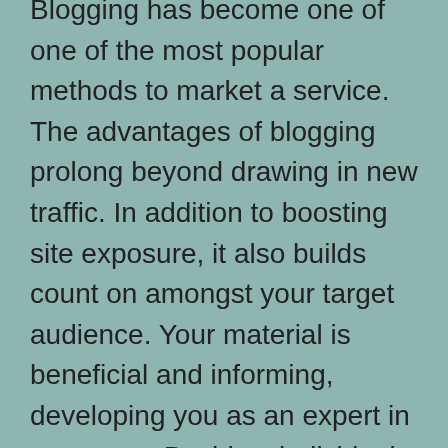Blogging has become one of one of the most popular methods to market a service. The advantages of blogging prolong beyond drawing in new traffic. In addition to boosting site exposure, it also builds count on amongst your target audience. Your material is beneficial and informing, developing you as an expert in your area. Besides, individuals purchase from individuals who they think about to be experienced as well as credible. And also if your visitors like what they review, they'll be more probable to purchase.